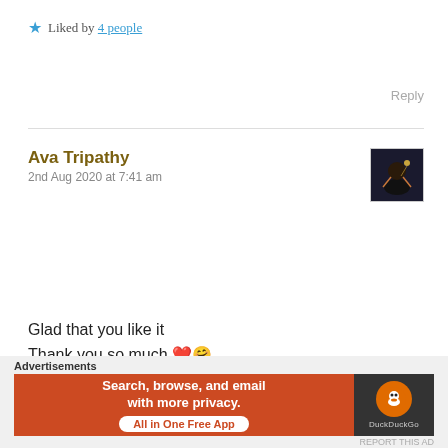★ Liked by 4 people
Reply
Ava Tripathy
2nd Aug 2020 at 7:41 am
[Figure (photo): Small dark thumbnail avatar photo showing a silhouette figure]
Glad that you like it
Thank you so much ❤️🤗
★ Like
Reply
Advertisements
[Figure (screenshot): DuckDuckGo advertisement banner: 'Search, browse, and email with more privacy. All in One Free App' with DuckDuckGo logo on dark right panel]